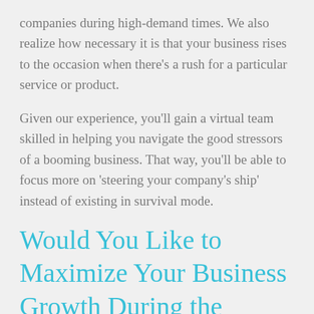companies during high-demand times. We also realize how necessary it is that your business rises to the occasion when there's a rush for a particular service or product.
Given our experience, you'll gain a virtual team skilled in helping you navigate the good stressors of a booming business. That way, you'll be able to focus more on 'steering your company's ship' instead of existing in survival mode.
Would You Like to Maximize Your Business Growth During the